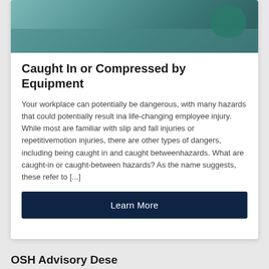[Figure (photo): Partial top view of a teal/blue leather sofa with a teal round pillow, cropped at the top]
Caught In or Compressed by Equipment
Your workplace can potentially be dangerous, with many hazards that could potentially result ina life-changing employee injury. While most are familiar with slip and fall injuries or repetitivemotion injuries, there are other types of dangers, including being caught in and caught betweenhazards. What are caught-in or caught-between hazards? As the name suggests, these refer to [...]
Learn More
OSH Advisory Dese